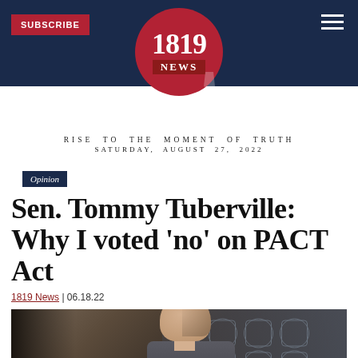1819 News — RISE TO THE MOMENT OF TRUTH — SATURDAY, AUGUST 27, 2022
Opinion
Sen. Tommy Tuberville: Why I voted 'no' on PACT Act
1819 News | 06.18.22
[Figure (photo): Senator Tommy Tuberville seated in a suit at what appears to be a Senate hearing room, with decorative grill-work visible in the background.]